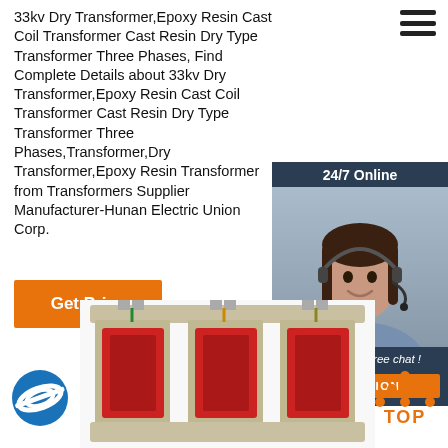33kv Dry Transformer,Epoxy Resin Cast Coil Transformer Cast Resin Dry Type Transformer Three Phases, Find Complete Details about 33kv Dry Transformer,Epoxy Resin Cast Coil Transformer Cast Resin Dry Type Transformer Three Phases,Transformer,Dry Transformer,Epoxy Resin Transformer from Transformers Supplier Manufacturer-Hunan Electric Union Corp.
[Figure (photo): Customer service representative with headset, 24/7 Online chat widget with dark navy background, QUOTATION orange button]
[Figure (logo): Pearl Electric logo - blue circular badge with PE symbol and 'pearl ELECTRIC' text]
[Figure (photo): 33kv dry type epoxy resin cast coil transformer - industrial three-phase transformer with red coils and metal frame]
[Figure (other): TOP navigation button with orange dots arranged in triangle and orange TOP text]